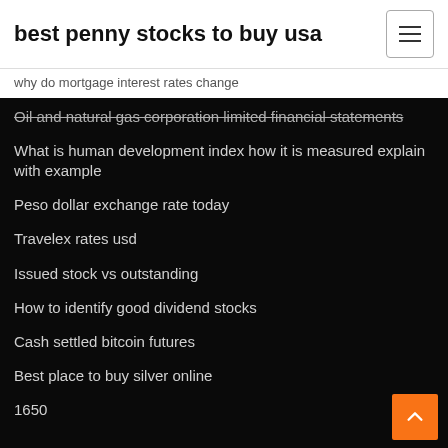best penny stocks to buy usa
why do mortgage interest rates change
Oil and natural gas corporation limited financial statements
What is human development index how it is measured explain with example
Peso dollar exchange rate today
Travelex rates usd
Issued stock vs outstanding
How to identify good dividend stocks
Cash settled bitcoin futures
Best place to buy silver online
1650